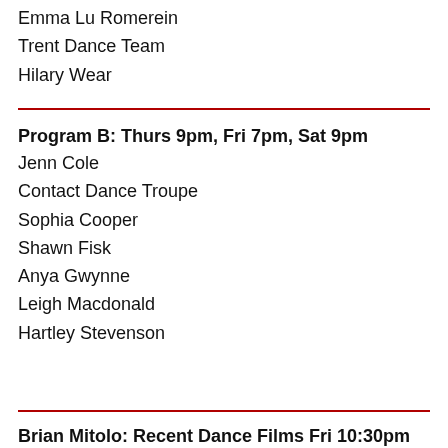Emma Lu Romerein
Trent Dance Team
Hilary Wear
Program B: Thurs 9pm, Fri 7pm, Sat 9pm
Jenn Cole
Contact Dance Troupe
Sophia Cooper
Shawn Fisk
Anya Gwynne
Leigh Macdonald
Hartley Stevenson
Brian Mitolo: Recent Dance Films Fri 10:30pm